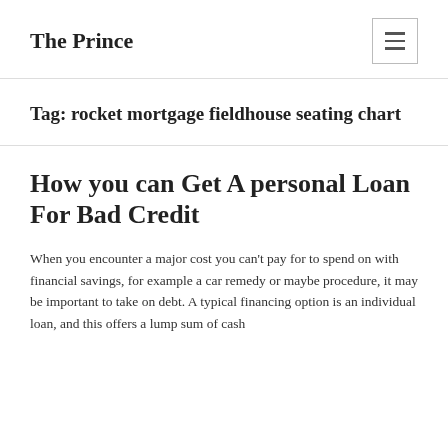The Prince
Tag: rocket mortgage fieldhouse seating chart
How you can Get A personal Loan For Bad Credit
When you encounter a major cost you can't pay for to spend on with financial savings, for example a car remedy or maybe procedure, it may be important to take on debt. A typical financing option is an individual loan, and this offers a lump sum of cash